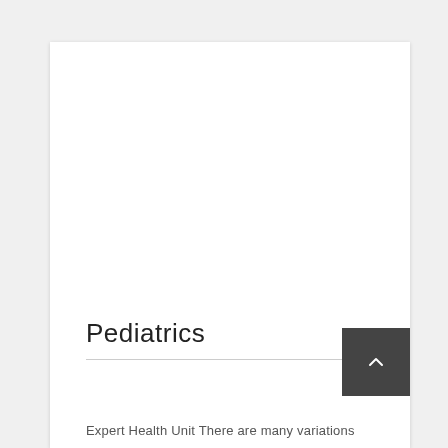Pediatrics
Expert Health Unit There are many variations